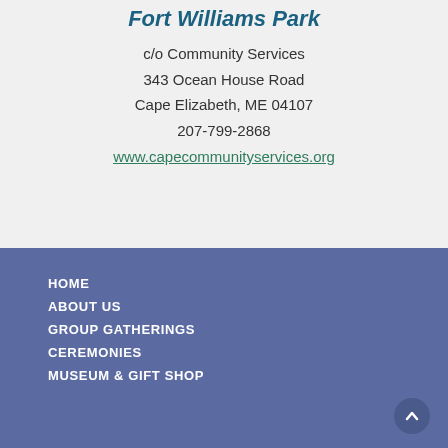Fort Williams Park
c/o Community Services
343 Ocean House Road
Cape Elizabeth, ME 04107
207-799-2868
www.capecommunityservices.org
HOME
ABOUT US
GROUP GATHERINGS
CEREMONIES
MUSEUM & GIFT SHOP